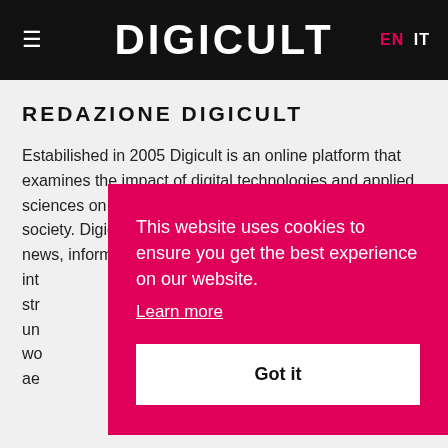DIGICULT | EN IT
REDAZIONE DIGICULT
Estabilished in 2005 Digicult is an online platform that examines the impact of digital technologies and applied sciences on art, design, culture and contemporary society. Digicult is an editorial project that daily publish news, informations, articles, int... str... un... wo... ae...
This website uses cookies to ensure you get the best experience on our website. Learn more Got it